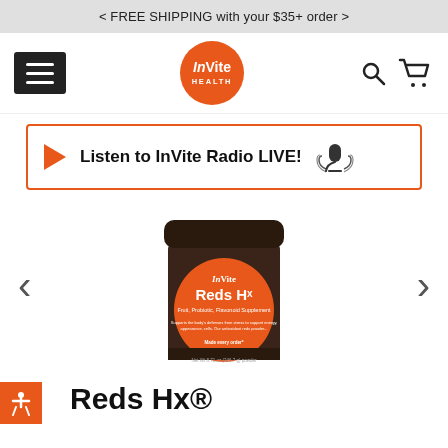< FREE SHIPPING with your $35+ order >
[Figure (logo): InVite Health orange circle logo with hamburger menu and search/cart icons in navigation bar]
Listen to InVite Radio LIVE!
[Figure (photo): InVite Reds Hx product jar with orange label on white background, with left and right navigation arrows]
Reds Hx®